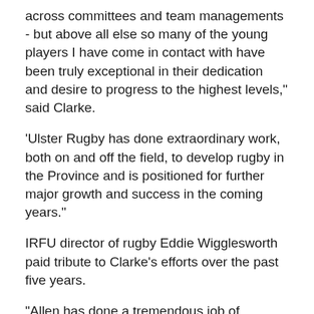across committees and team managements - but above all else so many of the young players I have come in contact with have been truly exceptional in their dedication and desire to progress to the highest levels," said Clarke.
'Ulster Rugby has done extraordinary work, both on and off the field, to develop rugby in the Province and is positioned for further major growth and success in the coming years."
IRFU director of rugby Eddie Wigglesworth paid tribute to Clarke's efforts over the past five years.
"Allen has done a tremendous job of developing the age grade representative structure and, indeed, the entire elite player development pathway within Irish Rugby," said Wigglesworth.
The timing of Clarke's move will coincide with the IRFU appointing his replacement.